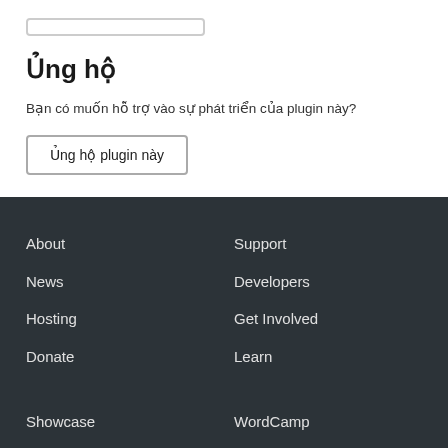Ủng hộ
Bạn có muốn hỗ trợ vào sự phát triển của plugin này?
Ủng hộ plugin này
About
Support
News
Developers
Hosting
Get Involved
Donate
Learn
Showcase
WordCamp
Plugins
WordPress.TV